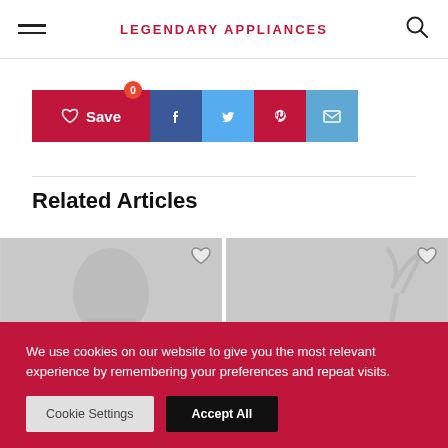LEGENDARY APPLIANCES
[Figure (infographic): Social share buttons: Save (heart icon, red, count 0), Facebook (blue), Twitter (light blue), Pinterest (red), Email (blue)]
Related Articles
[Figure (photo): Two article thumbnail images side by side showing winter/Christmas themed scenes with heart (save) icons]
We use cookies on our website to give you the most relevant experience by remembering your preferences and repeat visits.
Cookie Settings  Accept All